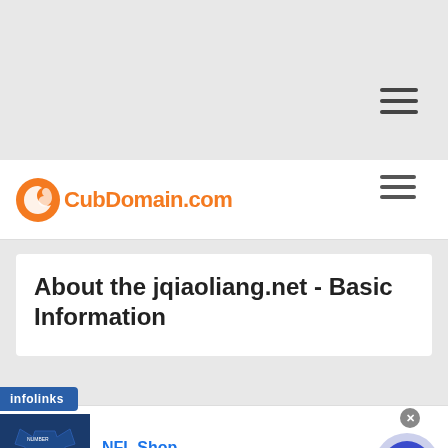[Figure (screenshot): Gray navigation area with hamburger menu icon]
CubDomain.com
About the jqiaoliang.net - Basic Information
[Figure (screenshot): NFL Shop advertisement banner with jersey image, 'Free shipping on orders over $25', www.nflshop.com, close button, and arrow button]